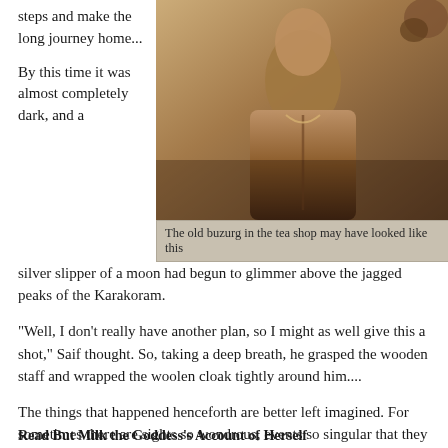steps and make the long journey home...
[Figure (photo): Sepia-toned photograph of an elderly man in a jacket, likely resembling an old buzurg (elder) in a tea shop setting.]
The old buzurg in the tea shop may have looked like this
By this time it was almost completely dark, and a silver slipper of a moon had begun to glimmer above the jagged peaks of the Karakoram.
"Well, I don't really have another plan, so I might as well give this a shot," Saif thought. So, taking a deep breath, he grasped the wooden staff and wrapped the woolen cloak tightly around him....
The things that happened henceforth are better left imagined. For sometimes there are sights so wondrous, events so singular that they defy description.
Let's just say that the old man in the tea shop had known what he was talking about!
Read But Milk the Goddess's Account of Herself